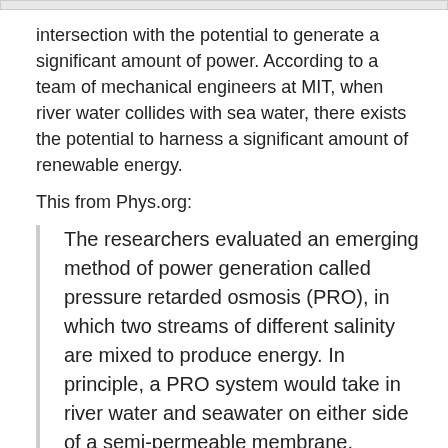intersection with the potential to generate a significant amount of power. According to a team of mechanical engineers at MIT, when river water collides with sea water, there exists the potential to harness a significant amount of renewable energy.
This from Phys.org:
The researchers evaluated an emerging method of power generation called pressure retarded osmosis (PRO), in which two streams of different salinity are mixed to produce energy. In principle, a PRO system would take in river water and seawater on either side of a semi-permeable membrane. Through osmosis, water from the less-salty stream would cross the membrane to a pre-pressurized saltier side, creating a flow that can be sent through a turbine to recover power.